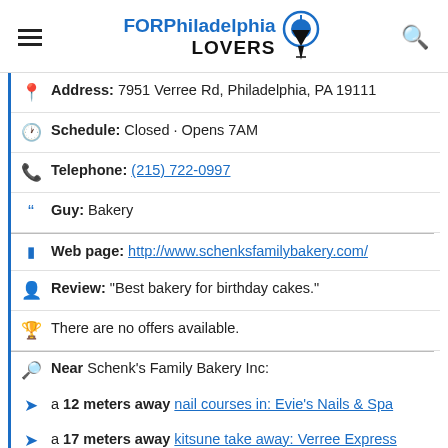FOR Philadelphia LOVERS
Address: 7951 Verree Rd, Philadelphia, PA 19111
Schedule: Closed · Opens 7AM
Telephone: (215) 722-0997
Guy: Bakery
Web page: http://www.schenksfamilybakery.com/
Review: "Best bakery for birthday cakes."
There are no offers available.
Near Schenk's Family Bakery Inc:
a 12 meters away nail courses in: Evie's Nails & Spa
a 17 meters away kitsune take away: Verree Express Pizza
a 30 meters away delicatessen stores: Keller's Market